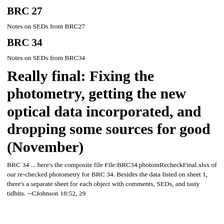BRC 27
Notes on SEDs from BRC27
BRC 34
Notes on SEDs from BRC34
Really final: Fixing the photometry, getting the new optical data incorporated, and dropping some sources for good (November)
BRC 34 ... here's the composite file File:BRC34 photomRecheckFinal.xlsx of our re-checked photometry for BRC 34. Besides the data listed on sheet 1, there's a separate sheet for each object with comments, SEDs, and tasty tidbits. --CJohnson 18:52, 29